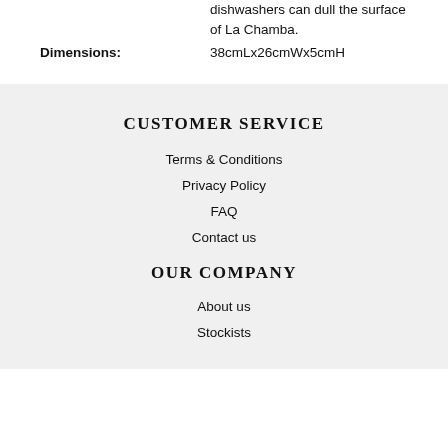dishwashers can dull the surface of La Chamba.
Dimensions: 38cmLx26cmWx5cmH
CUSTOMER SERVICE
Terms & Conditions
Privacy Policy
FAQ
Contact us
OUR COMPANY
About us
Stockists